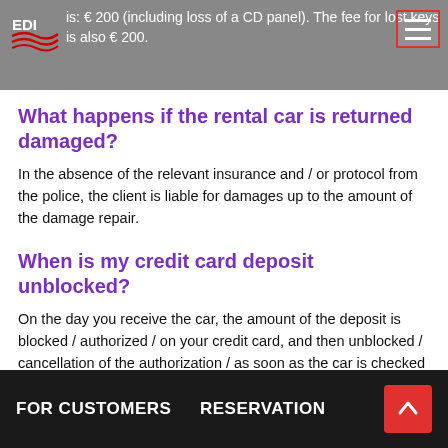is: € 200 (including loss of a CD panel). The fee for lost keys is also € 200.
What happens if the rental car is returned damaged?
In the absence of the relevant insurance and / or protocol from the police, the client is liable for damages up to the amount of the damage repair.
When is my credit card deposit unblocked?
On the day you receive the car, the amount of the deposit is blocked / authorized / on your credit card, and then unblocked / cancellation of the authorization / as soon as the car is checked upon its return.
FOR CUSTOMERS    RESERVATION